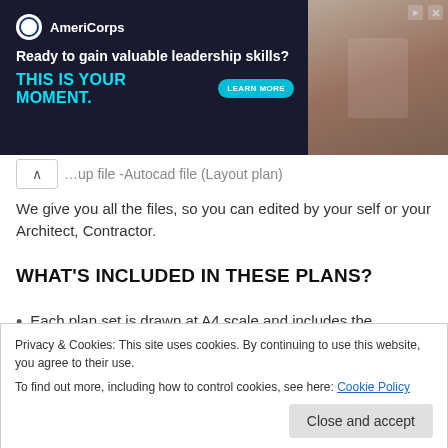[Figure (screenshot): AmeriCorps advertisement banner: 'Ready to gain valuable leadership skills? THIS IS YOUR MOMENT.' with LEARN MORE button and photo of people on right side.]
...up file -Autocad file (Layout plan)
We give you all the files, so you can edited by your self or your Architect, Contractor.
WHAT'S INCLUDED IN THESE PLANS?
Each plan set is drawn at A4 scale and includes the following drawings:
Elevations: Shows the front, sides, and rear, including
Privacy & Cookies: This site uses cookies. By continuing to use this website, you agree to their use.
To find out more, including how to control cookies, see here: Cookie Policy
Second Floor Plan (if any): Shows the second floor in